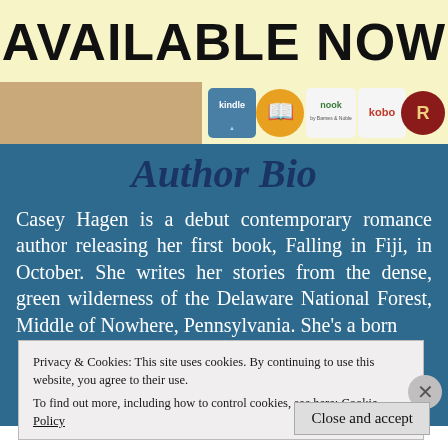AVAILABLE NOW
[Figure (illustration): Book store availability banner with kindle, nook, kobo and other retailer icons on a light yellow background with a book cover image]
Author Bio
Casey Hagen is a debut contemporary romance author releasing her first book, Falling in Fiji, in October. She writes her stories from the dense, green wilderness of the Delaware National Forest, Middle of Nowhere, Pennsylvania. She's a born...
Privacy & Cookies: This site uses cookies. By continuing to use this website, you agree to their use.
To find out more, including how to control cookies, see here: Cookie Policy
Close and accept